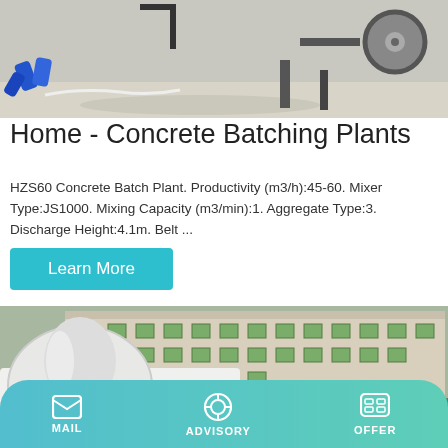[Figure (photo): Concrete batching plant equipment, showing wheels and blue hoses on sandy ground]
Home - Concrete Batching Plants
HZS60 Concrete Batch Plant. Productivity (m3/h):45-60. Mixer Type:JS1000. Mixing Capacity (m3/min):1. Aggregate Type:3. Discharge Height:4.1m. Belt ...
[Figure (photo): Concrete mixer truck in foreground with multi-story building in background]
MAIL   ADVISORY   OFFER